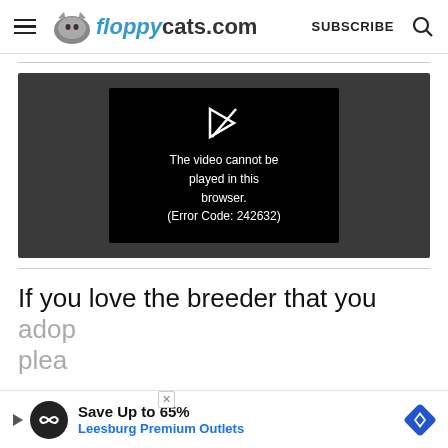floppycats.com  SUBSCRIBE
[Figure (screenshot): Video player showing error message: 'The video cannot be played in this browser. (Error Code: 242632)']
If you love the breeder that you
adop...
plea...
[Figure (infographic): Ad banner: Save Up to 65% Leesburg Premium Outlets]